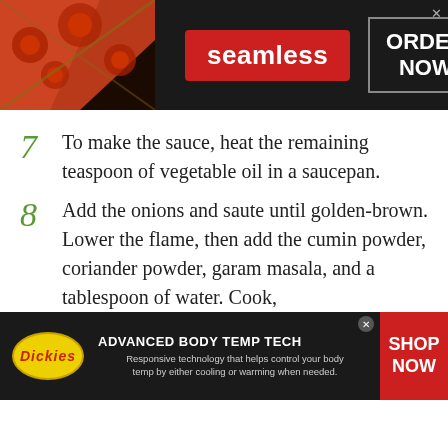[Figure (screenshot): Seamless food delivery advertisement banner with pizza image, red Seamless logo badge, and 'ORDER NOW' button on dark background]
7  To make the sauce, heat the remaining teaspoon of vegetable oil in a saucepan.
8  Add the onions and saute until golden-brown. Lower the flame, then add the cumin powder, coriander powder, garam masala, and a tablespoon of water. Cook,
[Figure (screenshot): Dickies Advanced Body Temp Tech advertisement banner with Dickies logo, product description, and 'SHOP NOW' button on dark background]